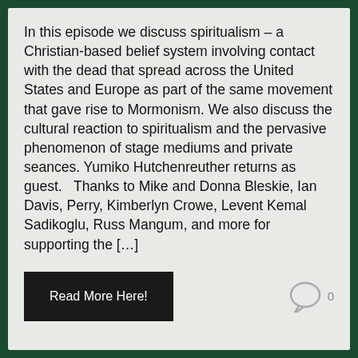In this episode we discuss spiritualism – a Christian-based belief system involving contact with the dead that spread across the United States and Europe as part of the same movement that gave rise to Mormonism. We also discuss the cultural reaction to spiritualism and the pervasive phenomenon of stage mediums and private seances. Yumiko Hutchenreuther returns as guest.   Thanks to Mike and Donna Bleskie, Ian Davis, Perry, Kimberlyn Crowe, Levent Kemal Sadikoglu, Russ Mangum, and more for supporting the […]
Read More Here!